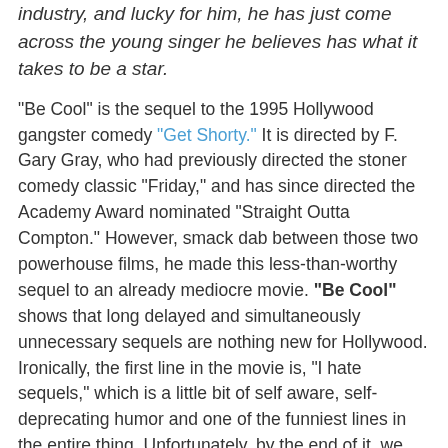industry, and lucky for him, he has just come across the young singer he believes has what it takes to be a star.
"Be Cool" is the sequel to the 1995 Hollywood gangster comedy "Get Shorty." It is directed by F. Gary Gray, who had previously directed the stoner comedy classic "Friday," and has since directed the Academy Award nominated "Straight Outta Compton." However, smack dab between those two powerhouse films, he made this less-than-worthy sequel to an already mediocre movie. "Be Cool" shows that long delayed and simultaneously unnecessary sequels are nothing new for Hollywood. Ironically, the first line in the movie is, "I hate sequels," which is a little bit of self aware, self-deprecating humor and one of the funniest lines in the entire thing. Unfortunately, by the end of it, we found ourselves sharing this sentiment. Banking off of the idea that Chili Palmer made a stinker of a sequel to his first film, he now wants to turn to another form of work. John Travolta returns as loan shark-turned-movie producer Chili Palmer. After 10 years producing movies, he has grown tired of all the bullshit in Hollywood and wants out of the business. He decides he would like to go into the music business instead.